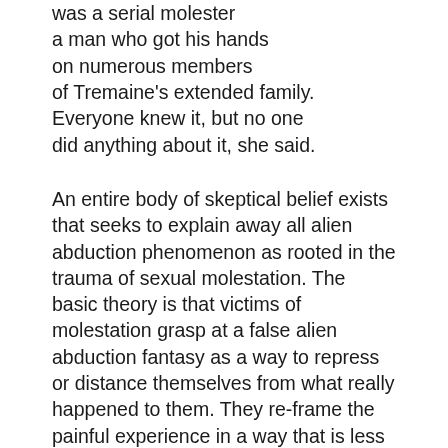was a serial molester a man who got his hands on numerous members of Tremaine's extended family. Everyone knew it, but no one did anything about it, she said.
An entire body of skeptical belief exists that seeks to explain away all alien abduction phenomenon as rooted in the trauma of sexual molestation. The basic theory is that victims of molestation grasp at a false alien abduction fantasy as a way to repress or distance themselves from what really happened to them. They re-frame the painful experience in a way that is less shameful and personal, and as a way to deal with guilt, and so forth.
Of course, skeptics will also gleeful discredit anything Tremaine says because they reject utterly the efficacy of any information obtained by way of hypnotic regression. Skeptics maintain that this form of memory retrieval is 100%